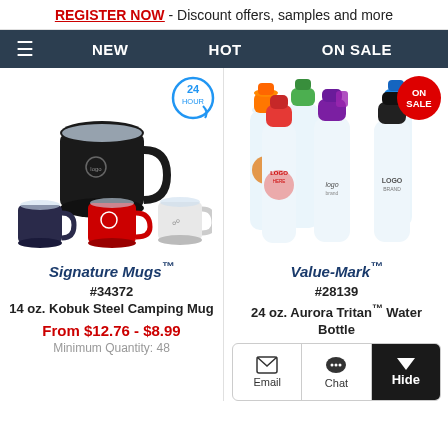REGISTER NOW - Discount offers, samples and more
NEW  HOT  ON SALE
[Figure (photo): Four Signature Mugs travel camping mugs in black, navy, red, and white stainless steel with handles and lids, shown from multiple angles. A 24-hour badge icon is visible.]
[Figure (photo): Six Value-Mark Aurora Tritan water bottles with colorful caps in orange, green, blue, red, purple, and black/silver, displayed as a group. An ON SALE badge is visible.]
Signature Mugs™
Value-Mark™
#34372
#28139
14 oz. Kobuk Steel Camping Mug
24 oz. Aurora Tritan™ Water Bottle
From $12.76 - $8.99
Minimum Quantity: 48
Email  Chat  Hide